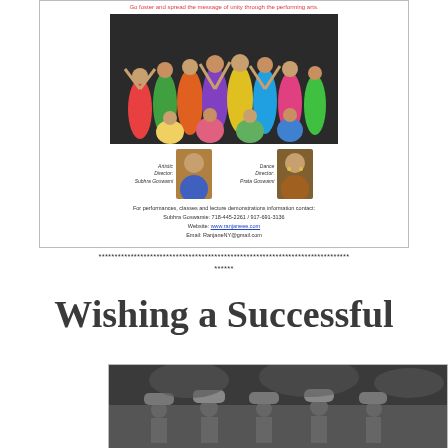[Figure (photo): Flyer with group photo of Indian classical dancers in colorful costumes, two director portraits, and contact information. Red tagline at top, contact details below.]
******************************************************************************
******
Wishing a Successful
[Figure (photo): Black and white photograph of people carrying large bundles on their heads, walking outdoors.]